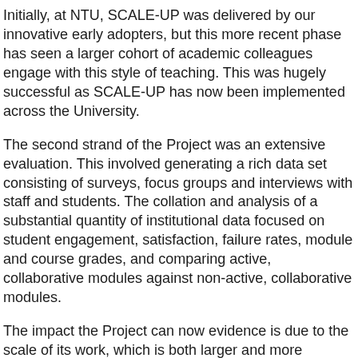Initially, at NTU, SCALE-UP was delivered by our innovative early adopters, but this more recent phase has seen a larger cohort of academic colleagues engage with this style of teaching. This was hugely successful as SCALE-UP has now been implemented across the University.
The second strand of the Project was an extensive evaluation. This involved generating a rich data set consisting of surveys, focus groups and interviews with staff and students. The collation and analysis of a substantial quantity of institutional data focused on student engagement, satisfaction, failure rates, module and course grades, and comparing active, collaborative modules against non-active, collaborative modules.
The impact the Project can now evidence is due to the scale of its work, which is both larger and more rigorously evaluated than similar learning and teaching initiatives elsewhere in the sector.